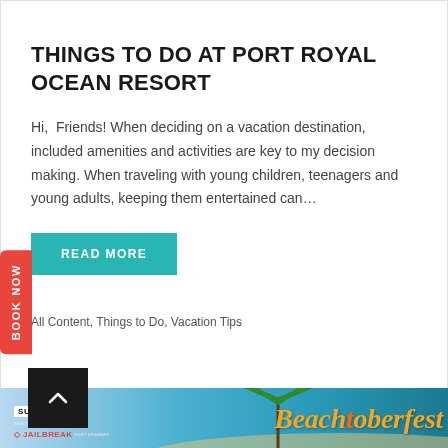THINGS TO DO AT PORT ROYAL OCEAN RESORT
Hi, Friends! When deciding on a vacation destination, included amenities and activities are key to my decision making. When traveling with young children, teenagers and young adults, keeping them entertained can…
READ MORE
All Content, Things to Do, Vacation Tips
[Figure (infographic): Bottom banner advertisement showing Super Chef and Jailbreak logos on the left with a Beachtoberfest festival logo and palm trees on a colorful gradient background]